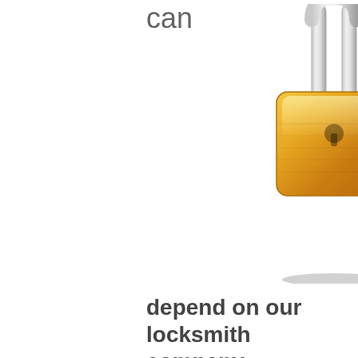can
[Figure (illustration): A golden/yellow padlock icon with metallic shackle, rendered in a glossy 3D style with shadow underneath.]
depend on our locksmith company
Whether you are locked out of your home or car or need to get the existing lock replaced, entrust the job to Locksmith Nepean.We are confident in the abilities of the local specialists to get any commercial,residential, or auto lock& key needs covered.No matter if it's about removing a broken key from the lock, or the keys locked inside ofthe car, a trained auto locksmith will show up shortly and help you